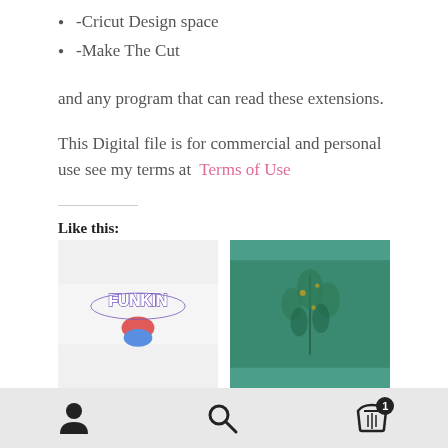-Cricut Design space
-Make The Cut
and any program that can read these extensions.
This Digital file is for commercial and personal use see my terms at  Terms of Use
Like this:
Like
Be the first to like this.
[Figure (photo): Funkin logo image thumbnail - graffiti style text on white background with colored figure beneath]
[Figure (photo): Green teal background with plant/fairy illustration thumbnail]
User icon | Search icon | Cart icon with badge 1